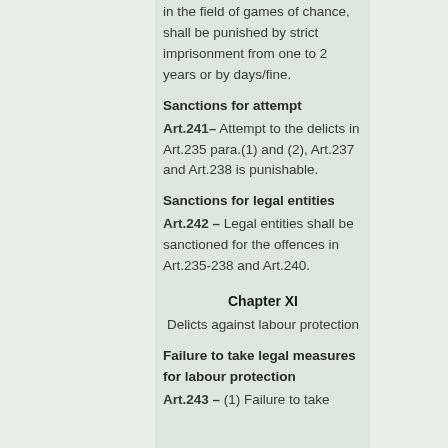in the field of games of chance, shall be punished by strict imprisonment from one to 2 years or by days/fine.
Sanctions for attempt
Art.241– Attempt to the delicts in Art.235 para.(1) and (2), Art.237 and Art.238 is punishable.
Sanctions for legal entities
Art.242 – Legal entities shall be sanctioned for the offences in Art.235-238 and Art.240.
Chapter XI
Delicts against labour protection
Failure to take legal measures for labour protection
Art.243 – (1) Failure to take